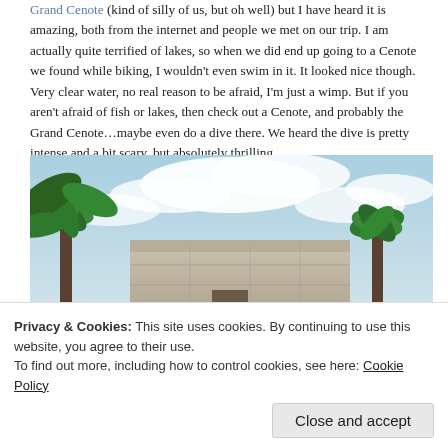Grand Cenote (kind of silly of us, but oh well) but I have heard it is amazing, both from the internet and people we met on our trip. I am actually quite terrified of lakes, so when we did end up going to a Cenote we found while biking, I wouldn't even swim in it. It looked nice though. Very clear water, no real reason to be afraid, I'm just a wimp. But if you aren't afraid of fish or lakes, then check out a Cenote, and probably the Grand Cenote…maybe even do a dive there. We heard the dive is pretty intense and a bit scary, but absolutely thrilling.
[Figure (photo): Upward-angle photo of a Mayan stone ruin building with palm trees on left and right, blue sky with white clouds in background.]
Privacy & Cookies: This site uses cookies. By continuing to use this website, you agree to their use.
To find out more, including how to control cookies, see here: Cookie Policy